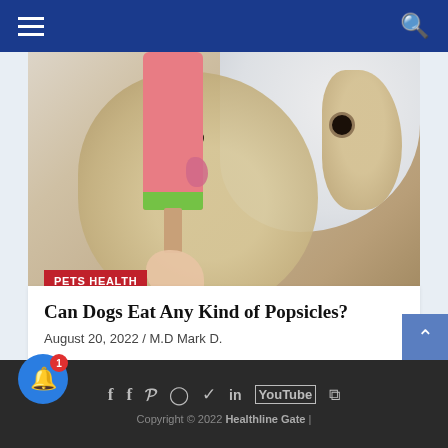Navigation header with hamburger menu and search icon
[Figure (photo): A golden retriever dog licking a pink popsicle with a green stripe, held by a human hand. A red badge reads PETS HEALTH.]
Can Dogs Eat Any Kind of Popsicles?
August 20, 2022 / M.D Mark D.
Social media icons row. Copyright © 2022 Healthline Gate |